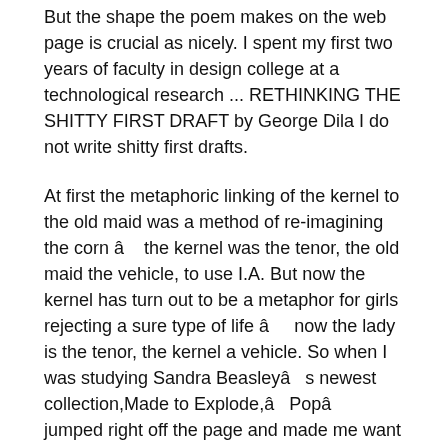But the shape the poem makes on the web page is crucial as nicely. I spent my first two years of faculty in design college at a technological research ... RETHINKING THE SHITTY FIRST DRAFT by George Dila I do not write shitty first drafts.
At first the metaphoric linking of the kernel to the old maid was a method of re-imagining the corn â the kernel was the tenor, the old maid the vehicle, to use I.A. But now the kernel has turn out to be a metaphor for girls rejecting a sure type of life â now the lady is the tenor, the kernel a vehicle. So when I was studying Sandra Beasleyâ s newest collection,Made to Explode,â Popâ jumped right off the page and made me want I had read it per week or two earlier than, so that I could have introduced it to the PIV college students. Far be it from me to poo-poo anyoneâ s pursuit of consensual sex, with whomever is fascinated.
He did his in couplets and mine was in clean verse. I would think about if I checked out each now that mine was higher.